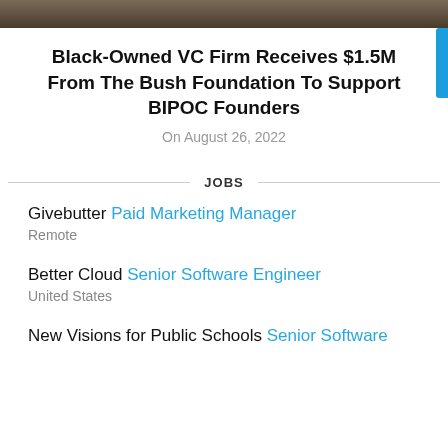[Figure (photo): Partial photo strip at top of page showing people, cropped]
Black-Owned VC Firm Receives $1.5M From The Bush Foundation To Support BIPOC Founders
On August 26, 2022
JOBS
Givebutter Paid Marketing Manager
Remote
Better Cloud Senior Software Engineer
United States
New Visions for Public Schools Senior Software